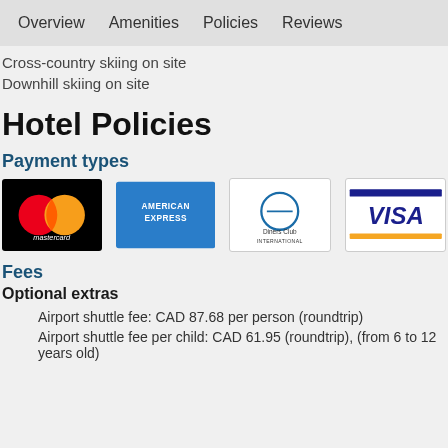Overview   Amenities   Policies   Reviews
Cross-country skiing on site
Downhill skiing on site
Hotel Policies
Payment types
[Figure (logo): Payment method logos: Mastercard, American Express, Diners Club International, Visa]
Fees
Optional extras
Airport shuttle fee: CAD 87.68 per person (roundtrip)
Airport shuttle fee per child: CAD 61.95 (roundtrip), (from 6 to 12 years old)